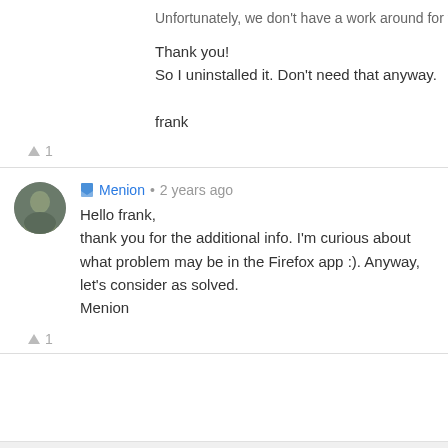Unfortunately, we don't have a work around for the issue at this ti
Thank you!
So I uninstalled it. Don't need that anyway.

frank
▲ 1
Menion • 2 years ago
Hello frank,
thank you for the additional info. I'm curious about what problem may be in the Firefox app :). Anyway, let's consider as solved.
Menion
▲ 1